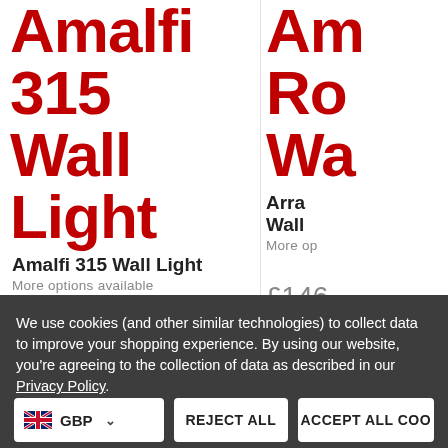Amalfi 315 Wall Light
Amalfi 315 Wall Light
More options available
£52.42
Arra Ro Wa (partially visible)
Arra Wall (partially visible)
More op
£146
We use cookies (and other similar technologies) to collect data to improve your shopping experience. By using our website, you're agreeing to the collection of data as described in our Privacy Policy.
GBP
REJECT ALL
ACCEPT ALL COO